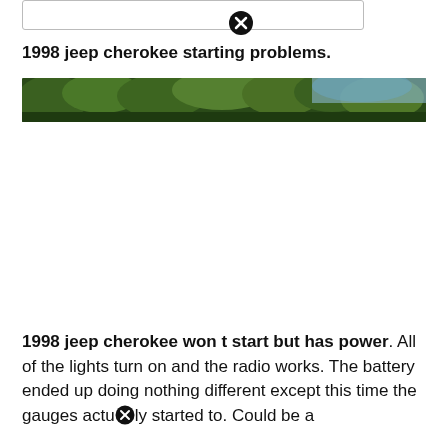1998 jeep cherokee starting problems.
[Figure (photo): Panoramic strip photo of dense green trees with sky visible on the right side]
1998 jeep cherokee won t start but has power. All of the lights turn on and the radio works. The battery ended up doing nothing different except this time the gauges actuⓇly started to. Could be a